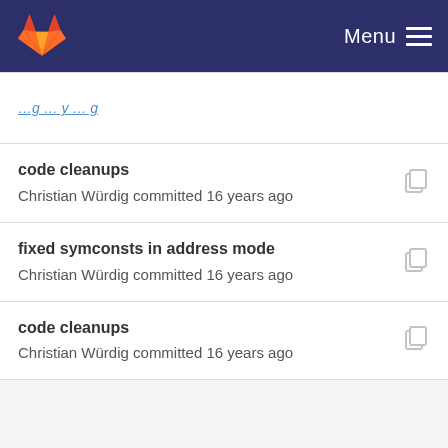Menu
code cleanups
Christian Würdig committed 16 years ago
fixed symconsts in address mode
Christian Würdig committed 16 years ago
code cleanups
Christian Würdig committed 16 years ago
Fixed output for x87 instructions with Const input ...
Michael Beck committed 16 years ago
Imprint